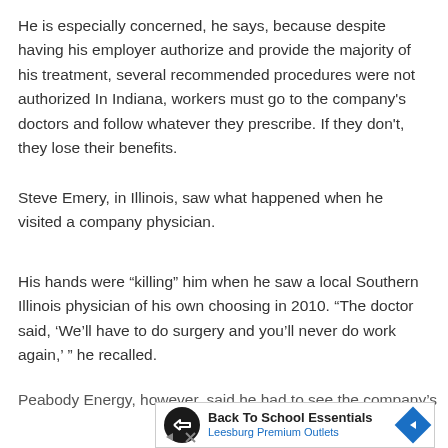He is especially concerned, he says, because despite having his employer authorize and provide the majority of his treatment, several recommended procedures were not authorized In Indiana, workers must go to the company's doctors and follow whatever they prescribe. If they don't, they lose their benefits.
Steve Emery, in Illinois, saw what happened when he visited a company physician.
His hands were “killing” him when he saw a local Southern Illinois physician of his own choosing in 2010. “The doctor said, ‘We’ll have to do surgery and you’ll never do work again,’ ” he recalled.
Peabody Energy, however, said he had to see the company's
[Figure (other): Advertisement banner for Back To School Essentials at Leesburg Premium Outlets, featuring a circular logo with arrows, navigation icon, and play/close controls.]